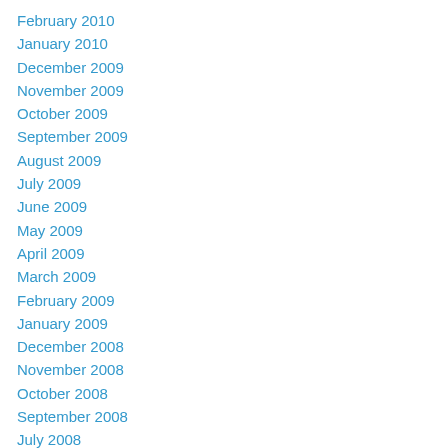February 2010
January 2010
December 2009
November 2009
October 2009
September 2009
August 2009
July 2009
June 2009
May 2009
April 2009
March 2009
February 2009
January 2009
December 2008
November 2008
October 2008
September 2008
July 2008
June 2008